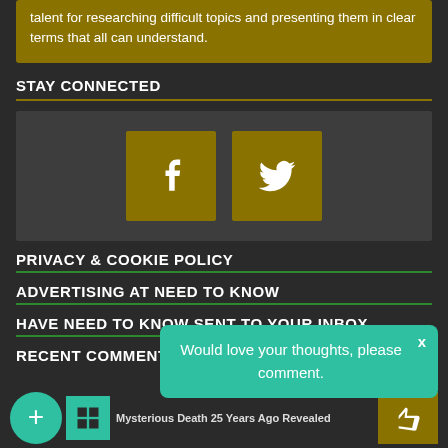talent for researching difficult topics and presenting them in clear terms that all can understand.
STAY CONNECTED
[Figure (illustration): Social media buttons: Facebook and Twitter icons on dark background]
PRIVACY & COOKIE POLICY
ADVERTISING AT NEED TO KNOW
HAVE NEED TO KNOW SENT TO YOUR INBOX
RECENT COMMENTS
Would love your thoughts, please comment.
Mysterious Death 25 Years Ago Revealed